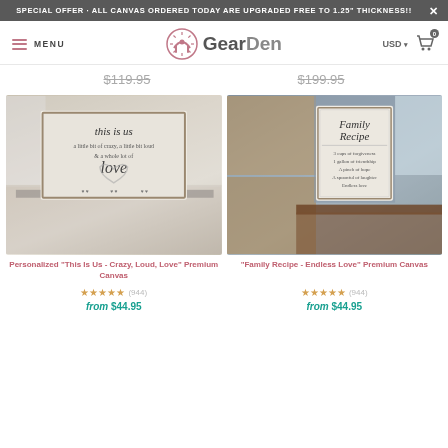SPECIAL OFFER - ALL CANVAS ORDERED TODAY ARE UPGRADED FREE TO 1.25" THICKNESS!!
[Figure (screenshot): GearDen website navigation bar with logo, menu, USD currency selector, and cart icon]
$119.95   $199.95
[Figure (photo): Personalized 'This Is Us - Crazy, Loud, Love' canvas print displayed in a dining room setting]
[Figure (photo): 'Family Recipe - Endless Love' canvas print displayed in a kitchen setting]
Personalized "This Is Us - Crazy, Loud, Love" Premium Canvas
"Family Recipe - Endless Love" Premium Canvas
★★★★★ (944)
★★★★★ (944)
from $44.95
from $44.95